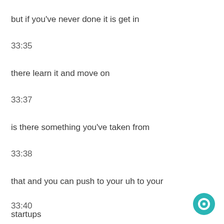but if you've never done it is get in
33:35
there learn it and move on
33:37
is there something you've taken from
33:38
that and you can push to your uh to your
33:40
startups
[Figure (illustration): Chat/message icon — teal circle with white inner circle]